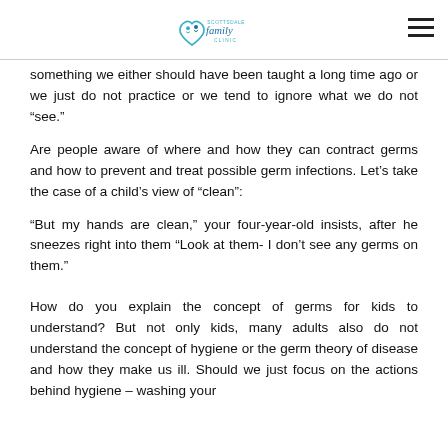Scottsdale Family Clinic logo and navigation
something we either should have been taught a long time ago or we just do not practice or we tend to ignore what we do not “see.”
Are people aware of where and how they can contract germs and how to prevent and treat possible germ infections. Let’s take the case of a child’s view of “clean”:
“But my hands are clean,” your four-year-old insists, after he sneezes right into them “Look at them- I don’t see any germs on them.”
How do you explain the concept of germs for kids to understand? But not only kids, many adults also do not understand the concept of hygiene or the germ theory of disease and how they make us ill. Should we just focus on the actions behind hygiene – washing your